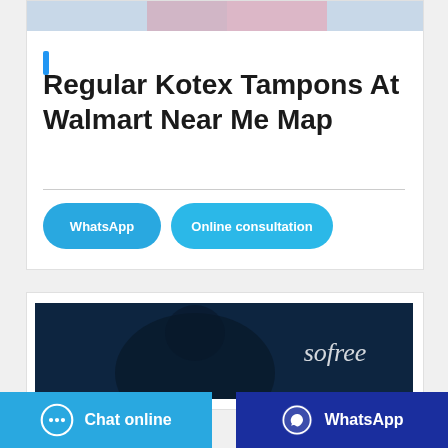[Figure (photo): Partial image of product packaging at top of card]
Regular Kotex Tampons At Walmart Near Me Map
WhatsApp | Online consultation
[Figure (photo): Dark blue image with 'sofree' logo/branding text in white italic]
Chat online | WhatsApp